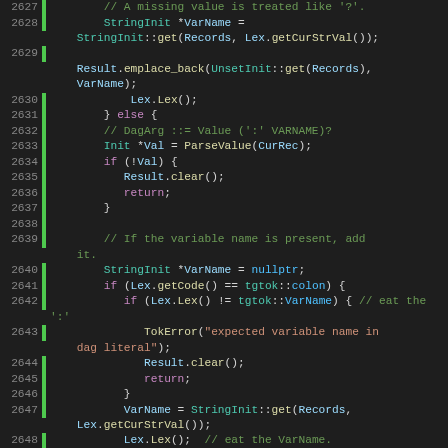[Figure (screenshot): Source code viewer showing C++ code lines 2627-2653 with syntax highlighting on dark background. Line numbers on left, green gutter indicators, code with colored tokens for keywords, types, functions, comments, and variables.]